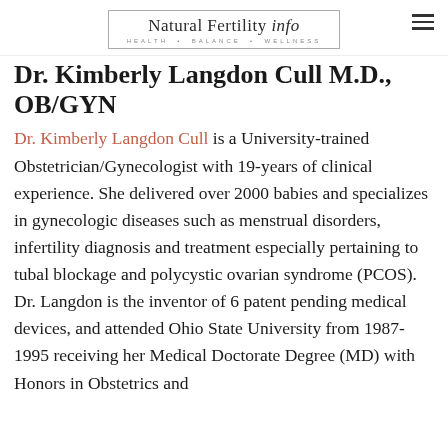Natural Fertility Info — HEALTH • BALANCE • WELLNESS
Dr. Kimberly Langdon Cull M.D., OB/GYN
Dr. Kimberly Langdon Cull is a University-trained Obstetrician/Gynecologist with 19-years of clinical experience. She delivered over 2000 babies and specializes in gynecologic diseases such as menstrual disorders, infertility diagnosis and treatment especially pertaining to tubal blockage and polycystic ovarian syndrome (PCOS). Dr. Langdon is the inventor of 6 patent pending medical devices, and attended Ohio State University from 1987-1995 receiving her Medical Doctorate Degree (MD) with Honors in Obstetrics and